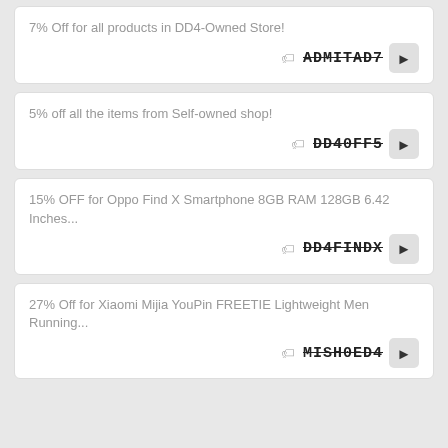7% Off for all products in DD4-Owned Store! — ADMITAD7
5% off all the items from Self-owned shop! — DD40FF5
15% OFF for Oppo Find X Smartphone 8GB RAM 128GB 6.42 Inches... — DD4FINDX
27% Off for Xiaomi Mijia YouPin FREETIE Lightweight Men Running... — MISH0ED4